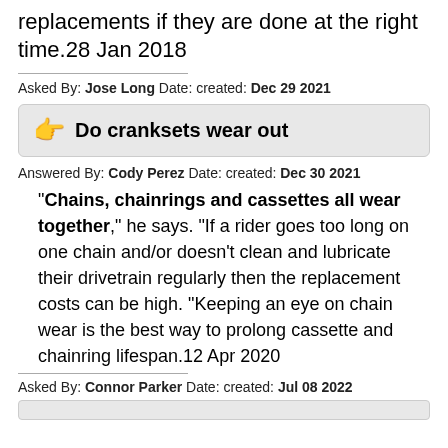replacements if they are done at the right time.28 Jan 2018
Asked By: Jose Long Date: created: Dec 29 2021
Do cranksets wear out
Answered By: Cody Perez Date: created: Dec 30 2021
"Chains, chainrings and cassettes all wear together," he says. "If a rider goes too long on one chain and/or doesn't clean and lubricate their drivetrain regularly then the replacement costs can be high. "Keeping an eye on chain wear is the best way to prolong cassette and chainring lifespan.12 Apr 2020
Asked By: Connor Parker Date: created: Jul 08 2022